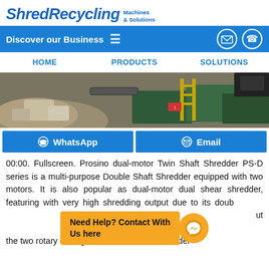ShredRecycling Machines & Solutions
Discover our Business
HOME | PRODUCTS | SOLUTIONS
[Figure (photo): Industrial shredding/recycling facility with large machines, debris piles, and green containers]
WhatsApp   Email
00:00. Fullscreen. Prosino dual-motor Twin Shaft Shredder PS-D series is a multi-purpose Double Shaft Shredder equipped with two motors. It is also popular as dual-motor dual shear shredder, featuring with very high shredding output due to its double shaft cutting system. The two rotary cutting ... Shredder at best price INR 6 Lac Buy Single Shaft Rotary Shredder